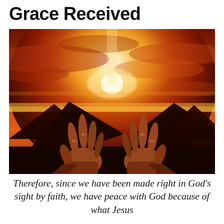Grace Received
[Figure (photo): Two human hands raised upward toward a bright glowing sun on the horizon, set against a dramatic orange and red sky with clouds and silhouetted mountains in the background.]
Therefore, since we have been made right in God’s sight by faith, we have peace with God because of what Jesus